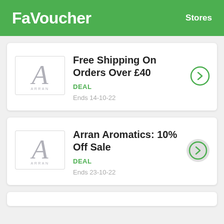FaVoucher   Stores
Free Shipping On Orders Over £40
DEAL
Ends 14-10-22
Arran Aromatics: 10% Off Sale
DEAL
Ends 23-10-22